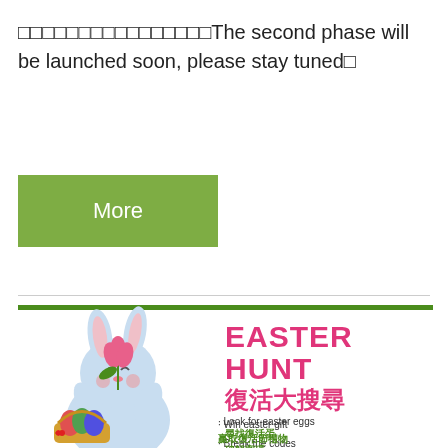□□□□□□□□□□□□□□□□The second phase will be launched soon, please stay tuned□
[Figure (illustration): Green rectangular button with white text 'More']
[Figure (illustration): Easter Hunt promotional banner with a cartoon blue bunny holding pink tulips and a basket of Easter eggs. Text reads: Easter Hunt 復活大搜尋. Look for easter eggs 尋找復活蛋. Break the codes 破解密碼. Win easter gift 贏取復活節禮物. Green bar at top.]